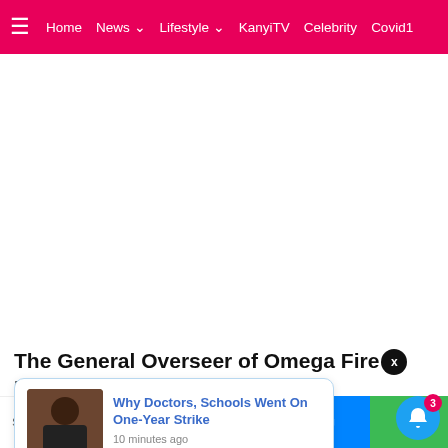≡  Home  News ▾  Lifestyle ▾  KanyiTV  Celebrity  Covid1
[Figure (other): White advertisement area]
The General Overseer of Omega Fire Ministries, [x] to the sex [...]wood act
[Figure (screenshot): Popup notification card with thumbnail of a man seated, headline: Why Doctors, Schools Went On One-Year Strike, timestamp: 10 minutes ago]
Shares  [Facebook] [Twitter] [WhatsApp] [Messenger] [More]